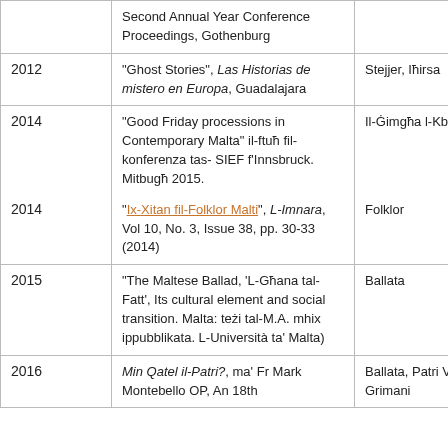| Year | Description | Venue/Publication |
| --- | --- | --- |
|  | Second Annual Year Conference Proceedings, Gothenburg |  |
| 2012 | “Ghost Stories”, Las Historias de mistero en Europa, Guadalajara | Stejjer, Iħirsa |
| 2014 | “Good Friday processions in Contemporary Malta” il-ftuħ fil-konferenza tas- SIEF f’Innsbruck. Mitbuġħ 2015. | Il-Ġimgħa l-Kbira |
| 2014 | “Ix-Xitan fil-Folklor Malti”, L-Imnara, Vol 10, No. 3, Issue 38, pp. 30-33 (2014) | Folklor |
| 2015 | “The Maltese Ballad, ‘L-Għana tal-Fatt’, Its cultural element and social transition. Malta: teżi tal-M.A. mhix ippubblikata. L-Università ta’ Malta) | Ballata |
| 2016 | Min Qatel il-Patri?, ma’ Fr Mark Montebello OP, An 18th | Ballata, Patri Vinncenz Grimani |